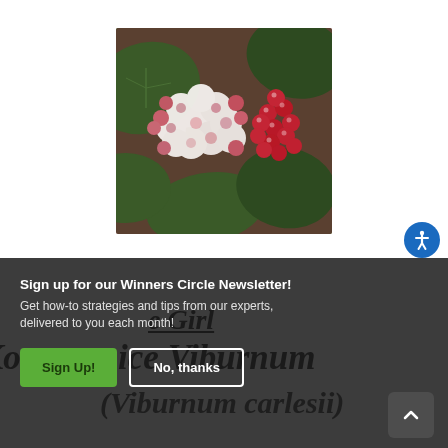[Figure (photo): Close-up photo of Koreanspice Viburnum (Viburnum carlesii) showing white flowers with pink-red buds and dark green leaves, alongside a cluster of small red berries on the right side.]
Sign up for our Winners Circle Newsletter!
Get how-to strategies and tips from our experts, delivered to you each month!
Sign Up!
No, thanks
Koreanspice Girl
Koreanspice Viburnum
(Viburnum carlesii)